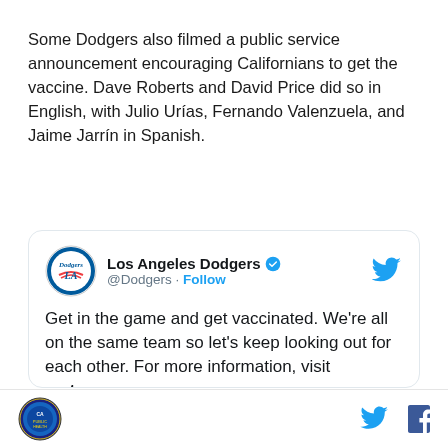Some Dodgers also filmed a public service announcement encouraging Californians to get the vaccine. Dave Roberts and David Price did so in English, with Julio Urías, Fernando Valenzuela, and Jaime Jarrín in Spanish.
[Figure (screenshot): Embedded tweet from @Dodgers (Los Angeles Dodgers) with verified badge and Follow link. Tweet text: 'Get in the game and get vaccinated. We're all on the same team so let's keep looking out for each other. For more information, visit myturn.ca.gov.' Partially visible mention: @CAgovernor | @CAPublicHealth]
Footer with circular logo on left and Twitter and Facebook icons on right